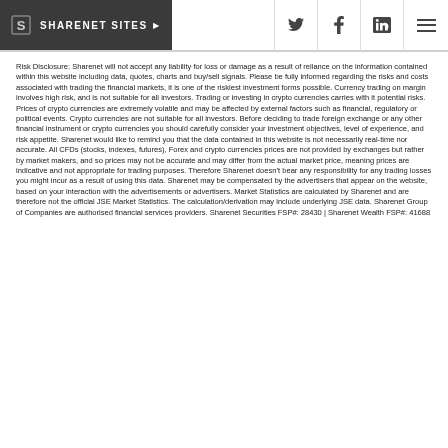SHARENET SITES
Risk Disclosure: Sharenet will not accept any liability for loss or damage as a result of reliance on the information contained within this website including data, quotes, charts and buy/sell signals. Please be fully informed regarding the risks and costs associated with trading the financial markets, it is one of the riskiest investment forms possible. Currency trading on margin involves high risk, and is not suitable for all investors. Trading or investing in crypto currencies carries with it potential risks. Prices of crypto currencies are extremely volatile and may be affected by external factors such as financial, regulatory or political events. Crypto currencies are not suitable for all investors. Before deciding to trade foreign exchange or any other financial instrument or crypto currencies you should carefully consider your investment objectives, level of experience, and risk appetite. Sharenet would like to remind you that the data contained in this website is not necessarily real-time nor accurate. All CFDs (stocks, indexes, futures), Forex and crypto currencies prices are not provided by exchanges but rather by market makers, and so prices may not be accurate and may differ from the actual market price, meaning prices are indicative and not appropriate for trading purposes. Therefore Sharenet doesn't bear any responsibility for any trading losses you might incur as a result of using this data. Sharenet may be compensated by the advertisers that appear on the website, based on your interaction with the advertisements or advertisers. Market Statistics are calculated by Sharenet and are therefore not the official JSE Market Statistics. The calculation/derivation may include underlying JSE data. Sharenet Group of Companies are authorised financial services providers. Sharenet Securities FSP#: 28430 | Sharenet Wealth FSP#: 41688